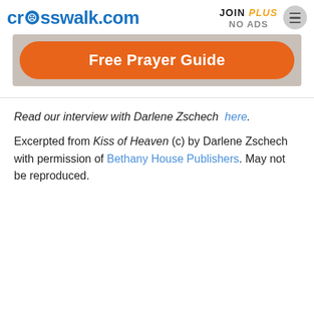crosswalk.com  JOIN PLUS  NO ADS
[Figure (other): Promotional banner: orange rounded rectangle with white bold text 'Free Prayer Guide' on a grey/beige background]
Read our interview with Darlene Zschech  here.
Excerpted from Kiss of Heaven (c) by Darlene Zschech with permission of Bethany House Publishers. May not be reproduced.